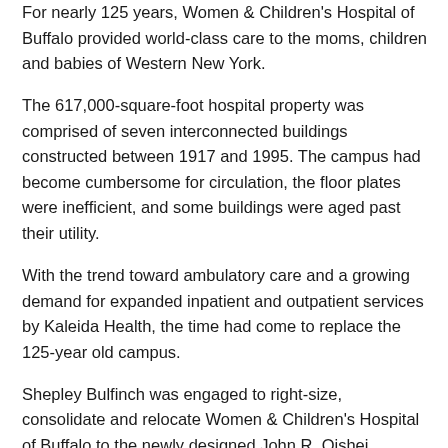For nearly 125 years, Women & Children's Hospital of Buffalo provided world-class care to the moms, children and babies of Western New York.
The 617,000-square-foot hospital property was comprised of seven interconnected buildings constructed between 1917 and 1995. The campus had become cumbersome for circulation, the floor plates were inefficient, and some buildings were aged past their utility.
With the trend toward ambulatory care and a growing demand for expanded inpatient and outpatient services by Kaleida Health, the time had come to replace the 125-year old campus.
Shepley Bulfinch was engaged to right-size, consolidate and relocate Women & Children's Hospital of Buffalo to the newly designed John R. Oishei Children's Hospital on the Buffalo Niagara Medical Campus, and fully integrate the